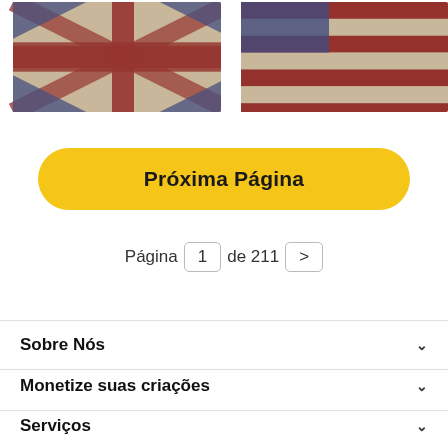[Figure (photo): UK flag (grunge/vintage style) on the left and US flag (grunge/vintage style) on the right, cropped at top]
Próxima Página
Página 1 de 211 >
Sobre Nós
Monetize suas criações
Serviços
Políticas
Ajuda